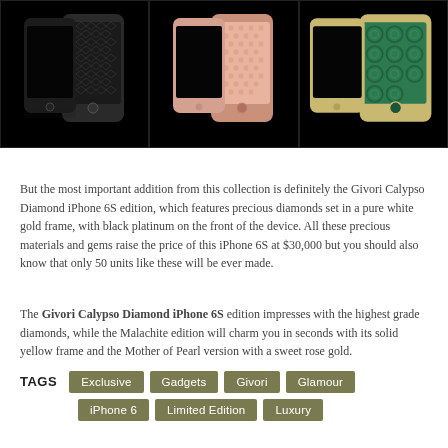[Figure (photo): Three pairs of luxury iPhone 6S models on black background: black/silver diamond pattern, rose gold mother of pearl, and green/gold malachite editions]
But the most important addition from this collection is definitely the Givori Calypso Diamond iPhone 6S edition, which features precious diamonds set in a pure white gold frame, with black platinum on the front of the device. All these precious materials and gems raise the price of this iPhone 6S at $30,000 but you should also know that only 50 units like these will be ever made.
The Givori Calypso Diamond iPhone 6S edition impresses with the highest grade diamonds, while the Malachite edition will charm you in seconds with its solid yellow frame and the Mother of Pearl version with a sweet rose gold.
TAGS: Exclusive, Gadgets, Givori, Glamour, iPhone 6, Limited Edition, Luxury